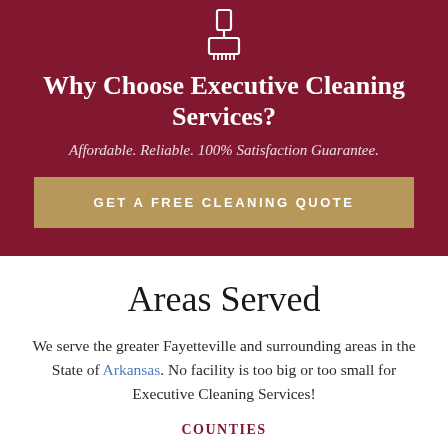[Figure (illustration): White line-art icon of a cleaning brush or broom on dark red background]
Why Choose Executive Cleaning Services?
Affordable. Reliable. 100% Satisfaction Guarantee.
GET A FREE CLEANING QUOTE
Areas Served
We serve the greater Fayetteville and surrounding areas in the State of Arkansas. No facility is too big or too small for Executive Cleaning Services!
COUNTIES